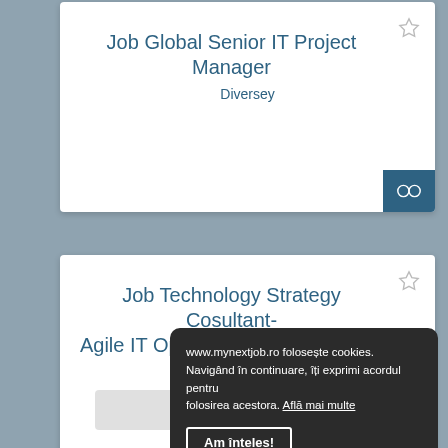Job Global Senior IT Project Manager
Diversey
Job Technology Strategy Cosultant- Agile IT Operating Model all levels
Accenture
înapoi la joburi
www.mynextjob.ro folosește cookies. Navigând în continuare, îți exprimi acordul pentru folosirea acestora. Află mai multe
Am înțeles!